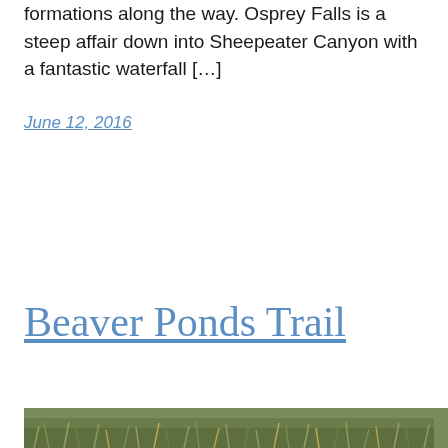formations along the way. Osprey Falls is a steep affair down into Sheepeater Canyon with a fantastic waterfall […]
June 12, 2016
Beaver Ponds Trail
[Figure (photo): Bottom portion of a photo showing grassy meadow or field, green and golden grasses visible]